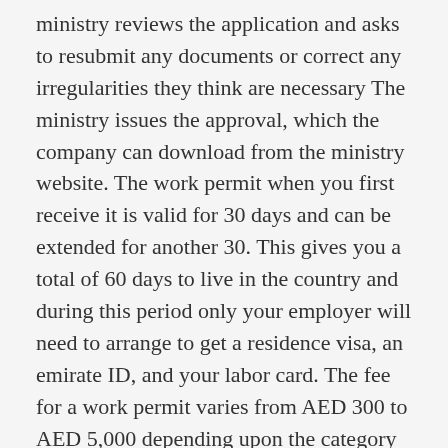ministry reviews the application and asks to resubmit any documents or correct any irregularities they think are necessary The ministry issues the approval, which the company can download from the ministry website. The work permit when you first receive it is valid for 30 days and can be extended for another 30. This gives you a total of 60 days to live in the country and during this period only your employer will need to arrange to get a residence visa, an emirate ID, and your labor card. The fee for a work permit varies from AED 300 to AED 5,000 depending upon the category and levels of the skilled and unskilled workers. The fee for foreign workers over the age of 65 is AED 5,000 in all categories. Moreover, any foreigner over the age of 18 can work in Sharjah provided they meet the standards set by the MoHRE. For the workers over